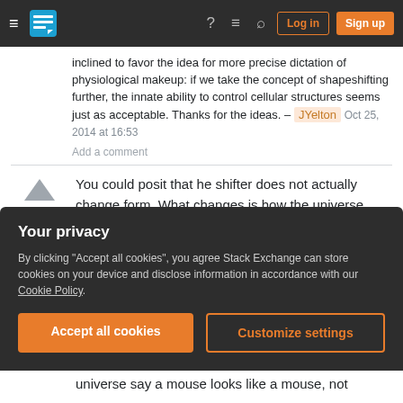Stack Exchange navigation bar with hamburger menu, logo, help, chat, search icons, Log in and Sign up buttons
inclined to favor the idea for more precise dictation of physiological makeup: if we take the concept of shapeshifting further, the innate ability to control cellular structures seems just as acceptable. Thanks for the ideas. – JYelton  Oct 25, 2014 at 16:53
Add a comment
You could posit that he shifter does not actually change form. What changes is how the universe itself perceives the shifter.
If the shifter changes into a dragon for example, he
Your privacy
By clicking "Accept all cookies", you agree Stack Exchange can store cookies on your device and disclose information in accordance with our Cookie Policy.
Accept all cookies
Customize settings
universe say a mouse looks like a mouse, not